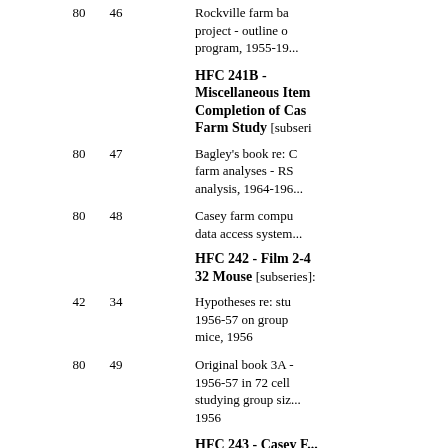80  46  Rockville farm bank project - outline of program, 1955-19...
HFC 241B - Miscellaneous Items Completion of Casey Farm Study [subseries]:
80  47  Bagley's book re: Casey farm analyses - RS analysis, 1964-196...
80  48  Casey farm computer data access system...
HFC 242 - Film 2-4 32 Mouse [subseries]:
42  34  Hypotheses re: study 1956-57 on group mice, 1956
80  49  Original book 3A - 1956-57 in 72 cells studying group size 1956
HFC 243 - Casey F... Project [subseries]: